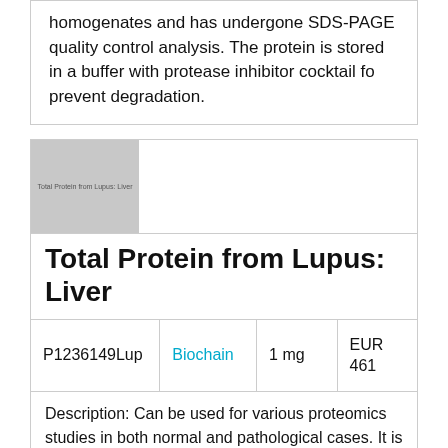homogenates and has undergone SDS-PAGE quality control analysis. The protein is stored in a buffer with protease inhibitor cocktail fo prevent degradation.
[Figure (photo): Product thumbnail image showing 'Total Protein from Lupus: Liver' label on a gray background]
Total Protein from Lupus: Liver
| Cat# | Brand | Quantity | Price |
| --- | --- | --- | --- |
| P1236149Lup | Biochain | 1 mg | EUR 461 |
Description: Can be used for various proteomics studies in both normal and pathological cases. It is an excellent control and suitable for educational purposes. This product is prepared from whole tissue homogenates and has undergone SDS-PAGE quality